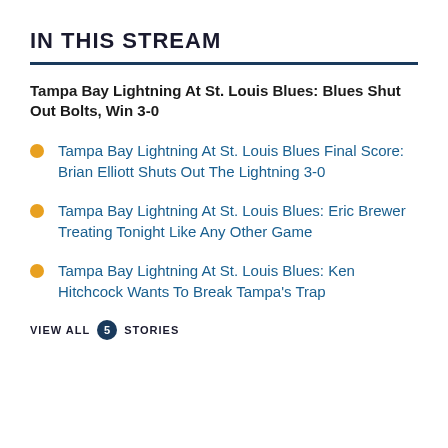IN THIS STREAM
Tampa Bay Lightning At St. Louis Blues: Blues Shut Out Bolts, Win 3-0
Tampa Bay Lightning At St. Louis Blues Final Score: Brian Elliott Shuts Out The Lightning 3-0
Tampa Bay Lightning At St. Louis Blues: Eric Brewer Treating Tonight Like Any Other Game
Tampa Bay Lightning At St. Louis Blues: Ken Hitchcock Wants To Break Tampa's Trap
VIEW ALL 5 STORIES